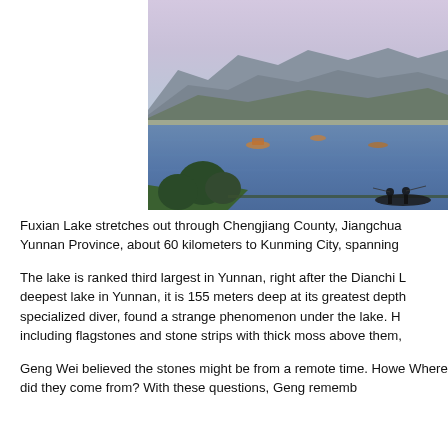[Figure (photo): Photograph of Fuxian Lake showing a large body of blue water with mountains in the background, a pink-hued sky, and silhouettes of people in a boat in the foreground. Trees and green vegetation are visible in the lower left.]
Fuxian Lake stretches out through Chengjiang County, Jiangchuan County in Yunnan Province, about 60 kilometers to Kunming City, spanning
The lake is ranked third largest in Yunnan, right after the Dianchi Lake. As the deepest lake in Yunnan, it is 155 meters deep at its greatest depth. In 1992, Geng Wei, a specialized diver, found a strange phenomenon under the lake. He found many objects, including flagstones and stone strips with thick moss above them,
Geng Wei believed the stones might be from a remote time. However, he wondered: Where did they come from? With these questions, Geng remembe